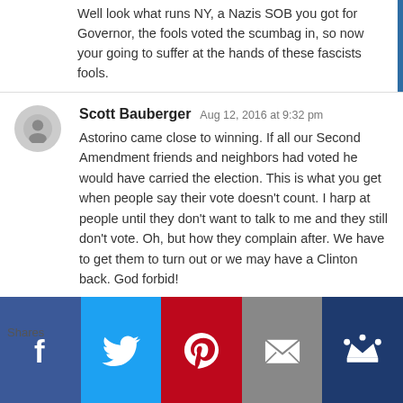Well look what runs NY, a Nazis SOB you got for Governor, the fools voted the scumbag in, so now your going to suffer at the hands of these fascists fools.
Scott Bauberger Aug 12, 2016 at 9:32 pm
Astorino came close to winning. If all our Second Amendment friends and neighbors had voted he would have carried the election. This is what you get when people say their vote doesn't count. I harp at people until they don't want to talk to me and they still don't vote. Oh, but how they complain after. We have to get them to turn out or we may have a Clinton back. God forbid!
Cliff Aug 12, 2016 at 9:45 pm
Perhaps the SAME VOTER FRAUD that...
[Figure (infographic): Social share bar with Facebook, Twitter, Pinterest, Email, and Kickstarter/king icons at bottom of page. Label 'Shares' on the left.]